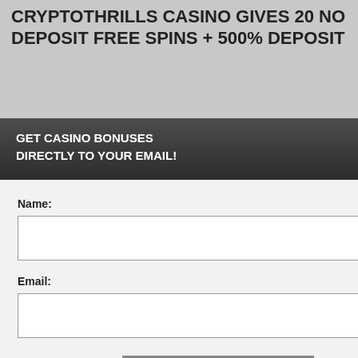CRYPTOTHRILLS CASINO GIVES 20 NO DEPOSIT FREE SPINS + 500% DEPOSIT
lusive 20 free spins no ew players that sign up and
first deposit bonus of 500%
500BONUS
perience, we use Using this site, kie & privacy policy.
[Figure (screenshot): Modal popup form with dark header saying GET CASINO BONUSES DIRECTLY TO YOUR EMAIL!, name and email fields, submit button, and privacy policy footer text. A close (X) button appears at the top right of the modal.]
By subscribing you are certifying that you have reviewed and accepted our updated Privacy and Cookie policy.
vers United erbia, Switzerland, Hungary,